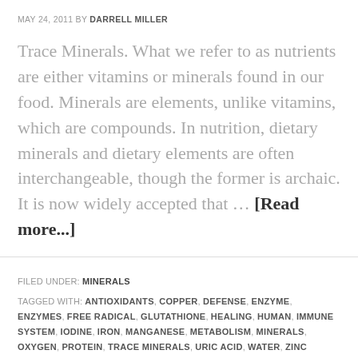MAY 24, 2011 BY DARRELL MILLER
Trace Minerals. What we refer to as nutrients are either vitamins or minerals found in our food. Minerals are elements, unlike vitamins, which are compounds. In nutrition, dietary minerals and dietary elements are often interchangeable, though the former is archaic. It is now widely accepted that … [Read more...]
FILED UNDER: MINERALS
TAGGED WITH: ANTIOXIDANTS, COPPER, DEFENSE, ENZYME, ENZYMES, FREE RADICAL, GLUTATHIONE, HEALING, HUMAN, IMMUNE SYSTEM, IODINE, IRON, MANGANESE, METABOLISM, MINERALS, OXYGEN, PROTEIN, TRACE MINERALS, URIC ACID, WATER, ZINC